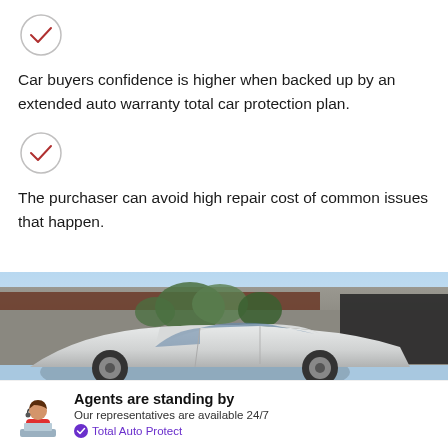[Figure (illustration): Red/dark checkmark circle icon]
Car buyers confidence is higher when backed up by an extended auto warranty total car protection plan.
[Figure (illustration): Red/dark checkmark circle icon]
The purchaser can avoid high repair cost of common issues that happen.
[Figure (photo): A white sedan car parked in front of a modern concrete building with plants and trees in the background under a blue sky.]
Agents are standing by
Our representatives are available 24/7
Total Auto Protect